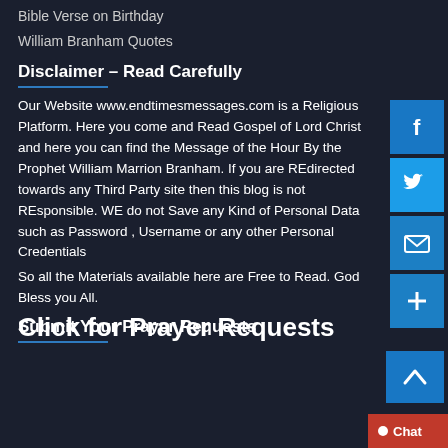Bible Verse on Birthday
William Branham Quotes
Disclaimer – Read Carefully
Our Website www.endtimesmessages.com is a Religious Platform. Here you come and Read Gospel of Lord Christ and here you can find the Message of the Hour By the Prophet William Marrion Branham. If you are REdirected towards any Third Party site then this blog is not REsponsible. WE do not Save any Kind of Personal Data such as Password , Username or any other Personal Credentials
So all the Materials available here are Free to Read. God Bless you All.
Submit Your Prayer Requests
Click for Prayer Requests